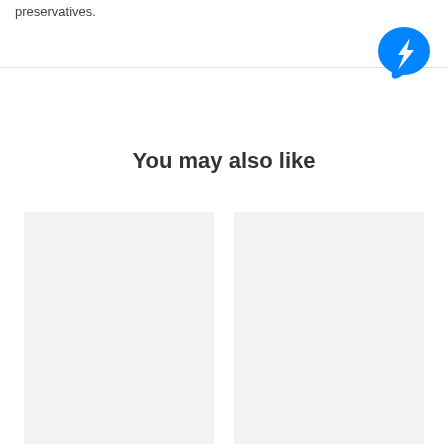preservatives.
[Figure (logo): Facebook Messenger app icon — blue speech bubble with white lightning bolt]
You may also like
[Figure (photo): Placeholder card left — light gray rectangle]
[Figure (photo): Placeholder card right — light gray rectangle]